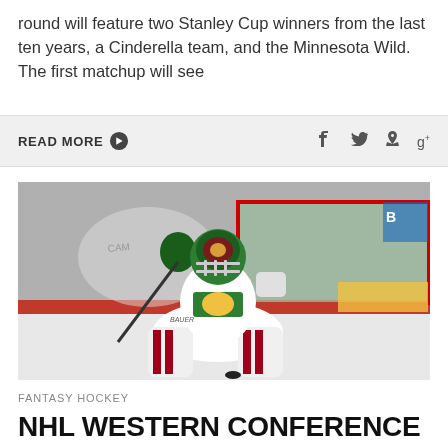round will feature two Stanley Cup winners from the last ten years, a Cinderella team, and the Minnesota Wild. The first matchup will see
READ MORE →
[Figure (photo): Minnesota Wild goaltender in white and green uniform making a save in butterfly position in front of the net, wearing Bauer equipment and a decorated helmet]
FANTASY HOCKEY
NHL WESTERN CONFERENCE